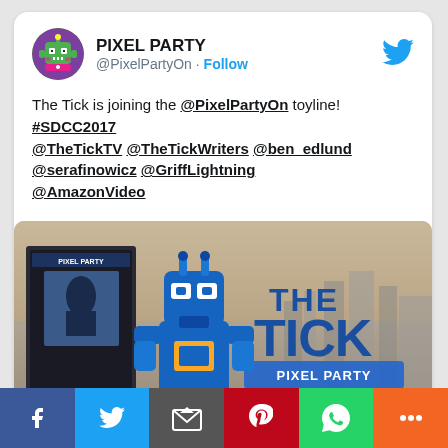PIXEL PARTY @PixelPartyOn · Follow
The Tick is joining the @PixelPartyOn toyline! #SDCC2017 @TheTickTV @TheTickWriters @ben_edlund @serafinowicz @GriffLightning @AmazonVideo
[Figure (photo): The Tick Pixel Party collectible toy promotional image with cityscape background]
[Figure (infographic): Social sharing bar with Facebook, Twitter, Email, Pinterest, WhatsApp, and More buttons]